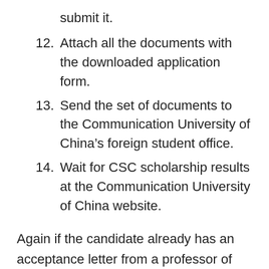submit it.
12. Attach all the documents with the downloaded application form.
13. Send the set of documents to the Communication University of China’s foreign student office.
14. Wait for CSC scholarship results at the Communication University of China website.
Again if the candidate already has an acceptance letter from a professor of his/her desired university, then there is a more chance